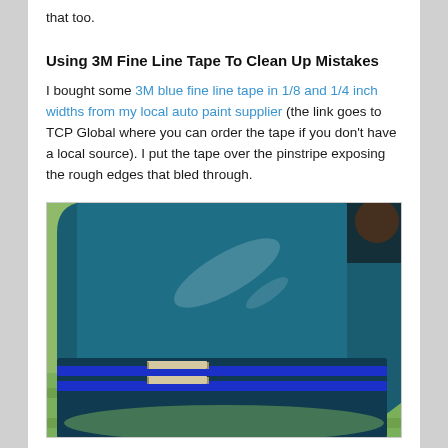that too.
Using 3M Fine Line Tape To Clean Up Mistakes
I bought some 3M blue fine line tape in 1/8 and 1/4 inch widths from my local auto paint supplier (the link goes to TCP Global where you can order the tape if you don't have a local source). I put the tape over the pinstripe exposing the rough edges that bled through.
[Figure (photo): Close-up photo of a blue car panel with a cobalt blue pinstripe, showing fine line tape applied over the pinstripe to clean up rough edges. The car panel rests on a green microfiber towel.]